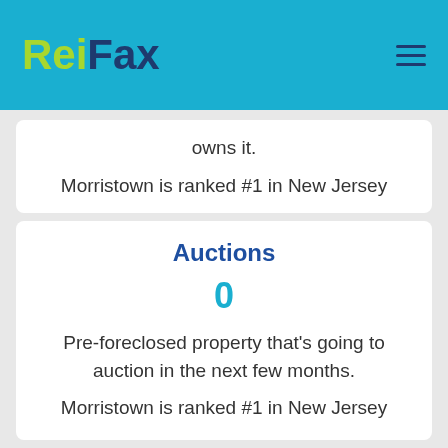ReiFax
owns it.

Morristown is ranked #1 in New Jersey
Auctions
0
Pre-foreclosed property that's going to auction in the next few months.

Morristown is ranked #1 in New Jersey
Repairs For Sale